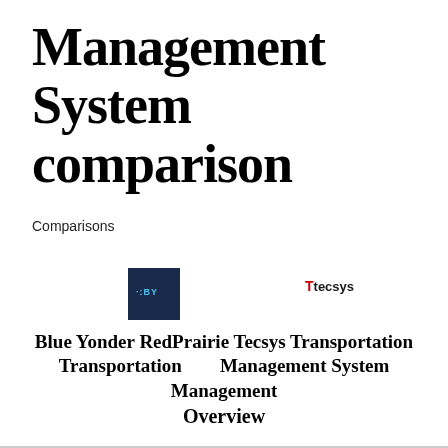Management System comparison
Comparisons
[Figure (logo): Blue Yonder logo: dark navy square with '·:BY' text in light blue]
[Figure (logo): Tecsys logo: 'T' in red followed by 'tecsys' in dark text]
Blue Yonder RedPrairie Tecsys Transportation Transportation Management Management System
Overview